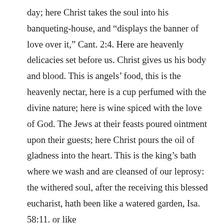day; here Christ takes the soul into his banqueting-house, and “displays the banner of love over it,” Cant. 2:4. Here are heavenly delicacies set before us. Christ gives us his body and blood. This is angels’ food, this is the heavenly nectar, here is a cup perfumed with the divine nature; here is wine spiced with the love of God. The Jews at their feasts poured ointment upon their guests; here Christ pours the oil of gladness into the heart. This is the king’s bath where we wash and are cleansed of our leprosy: the withered soul, after the receiving this blessed eucharist, hath been like a watered garden, Isa. 58:11. or like